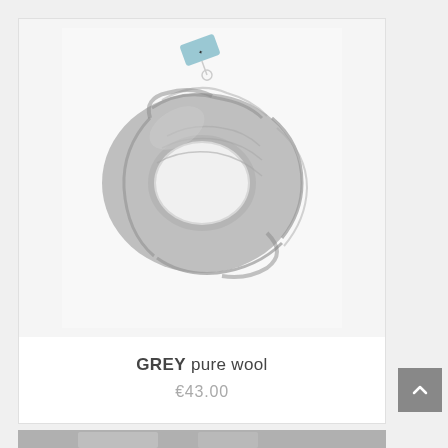[Figure (photo): Grey pure wool infinity scarf coiled in a ring on a white background, with a small blue price tag visible at the top]
GREY pure wool
€43.00
[Figure (photo): Partial view of a second product card at the bottom of the page (cropped)]